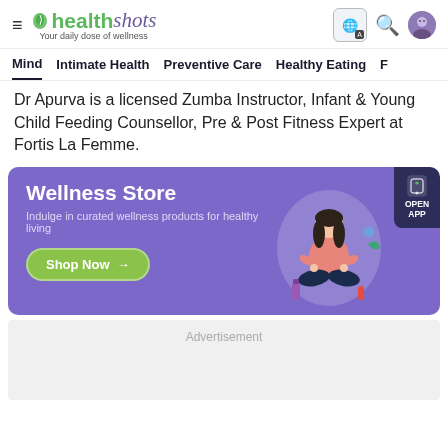healthshots - Your daily dose of wellness
Mind | Intimate Health | Preventive Care | Healthy Eating | F
Dr Apurva is a licensed Zumba Instructor, Infant & Young Child Feeding Counsellor, Pre & Post Fitness Expert at Fortis La Femme.
[Figure (infographic): Wellness Store banner with purple background, meditating woman illustration, Shop Now button, and Open App tab]
Advertisement